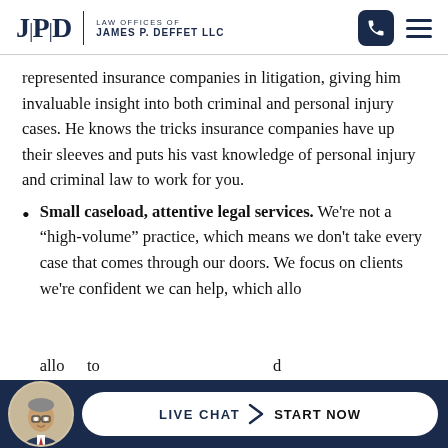JPD | LAW OFFICES OF JAMES P. DEFFET LLC
represented insurance companies in litigation, giving him invaluable insight into both criminal and personal injury cases. He knows the tricks insurance companies have up their sleeves and puts his vast knowledge of personal injury and criminal law to work for you.
Small caseload, attentive legal services. We're not a “high-volume” practice, which means we don't take every case that comes through our doors. We focus on clients we're confident we can help, which allows to ... d
[Figure (other): Live chat bar with avatar photo of attorney, and a pill-shaped button reading LIVE CHAT > START NOW on a dark navy background]